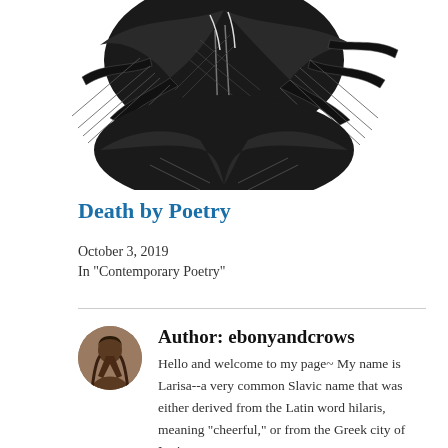[Figure (illustration): Black and white detailed pen illustration of a bird (possibly a crow or raven) with feathers and a human figure, cropped at top of page]
Death by Poetry
October 3, 2019
In "Contemporary Poetry"
Author: ebonyandcrows
Hello and welcome to my page~ My name is Larisa--a very common Slavic name that was either derived from the Latin word hilaris, meaning "cheerful," or from the Greek city of Larissa, meaning "strong fortress." Born in